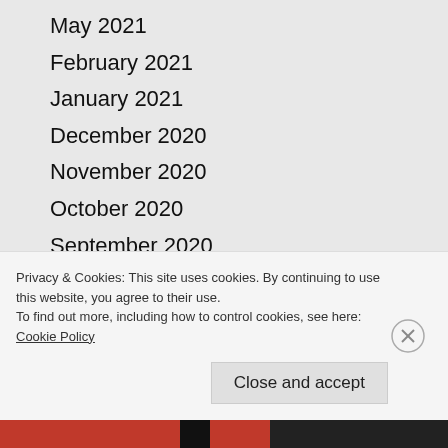May 2021
February 2021
January 2021
December 2020
November 2020
October 2020
September 2020
August 2020
July 2020
May 2020
April 2020
February 2020
Privacy & Cookies: This site uses cookies. By continuing to use this website, you agree to their use.
To find out more, including how to control cookies, see here: Cookie Policy
Close and accept